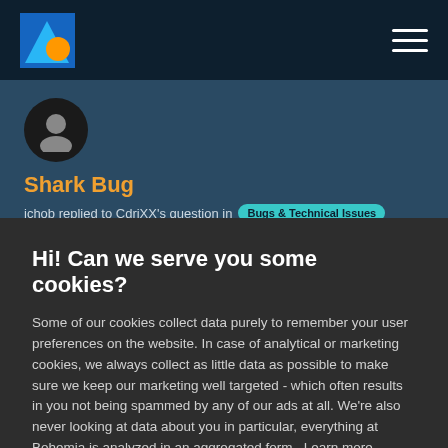Navigation bar with logo and hamburger menu
Shark Bug
jchob replied to CdriXX's question in Bugs & Technical Issues
Hi! Can we serve you some cookies?
Some of our cookies collect data purely to remember your user preferences on the website. In case of analytical or marketing cookies, we always collect as little data as possible to make sure we keep our marketing well targeted - which often results in you not being spammed by any of our ads at all. We're also never looking at data about you in particular, everything at Bohemia is analyzed in an aggregated form. Learn more
Allow all cookies
I want more options